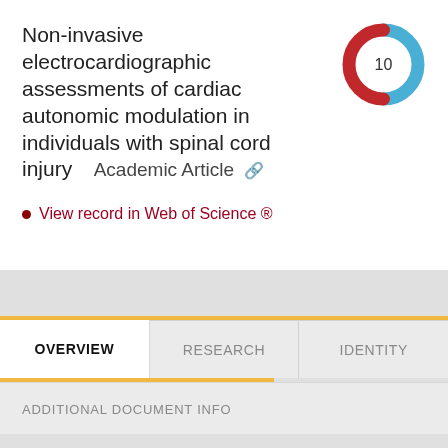Non-invasive electrocardiographic assessments of cardiac autonomic modulation in individuals with spinal cord injury   Academic Article
[Figure (donut-chart): Donut chart badge with number 10 in center, blue and red arcs forming a circle]
View record in Web of Science ®
OVERVIEW
RESEARCH
IDENTITY
ADDITIONAL DOCUMENT INFO